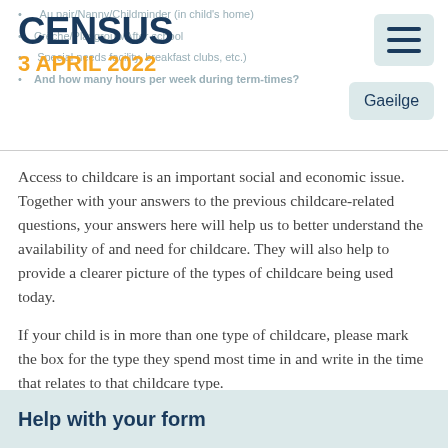CENSUS 3 APRIL 2022
Access to childcare is an important social and economic issue. Together with your answers to the previous childcare-related questions, your answers here will help us to better understand the availability of and need for childcare. They will also help to provide a clearer picture of the types of childcare being used today.
If your child is in more than one type of childcare, please mark the box for the type they spend most time in and write in the time that relates to that childcare type.
Help with your form